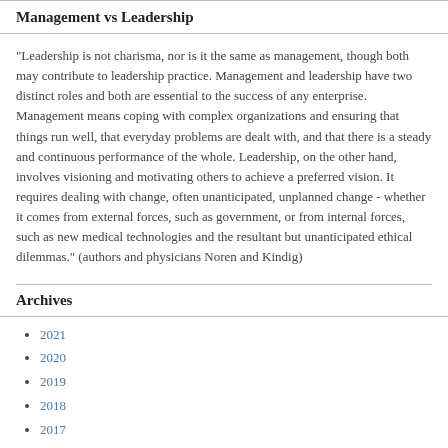Management vs Leadership
“Leadership is not charisma, nor is it the same as management, though both may contribute to leadership practice. Management and leadership have two distinct roles and both are essential to the success of any enterprise. Management means coping with complex organizations and ensuring that things run well, that everyday problems are dealt with, and that there is a steady and continuous performance of the whole. Leadership, on the other hand, involves visioning and motivating others to achieve a preferred vision. It requires dealing with change, often unanticipated, unplanned change - whether it comes from external forces, such as government, or from internal forces, such as new medical technologies and the resultant but unanticipated ethical dilemmas.” (authors and physicians Noren and Kindig)
Archives
2021
2020
2019
2018
2017
2016
2015
2014
2013